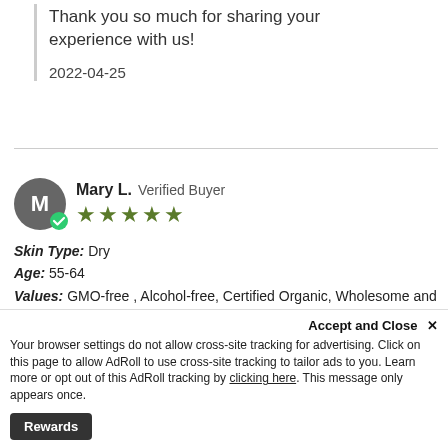Thank you so much for sharing your experience with us!
2022-04-25
Mary L. Verified Buyer ★★★★★
Skin Type: Dry
Age: 55-64
Values: GMO-free , Alcohol-free, Certified Organic, Wholesome and understood ingredients, Cruelty-free / No Testing on Animals
Skin Tone: Medium
Time using SanRe products: More then 5 years
Extremely moisturizing and protective
I love Tickled Pink as a night cream, or any time I need a little extra moisture. It is a
Accept and Close ×
Your browser settings do not allow cross-site tracking for advertising. Click on this page to allow AdRoll to use cross-site tracking to tailor ads to you. Learn more or opt out of this AdRoll tracking by clicking here. This message only appears once.
Rewards